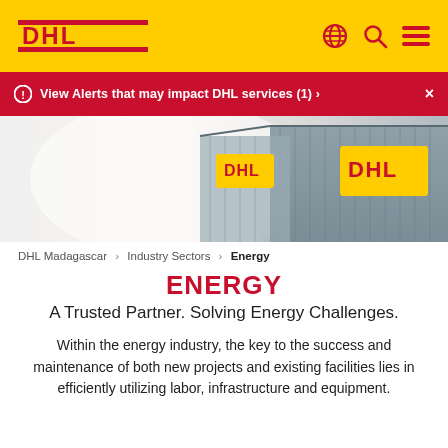DHL header with logo and navigation icons
View Alerts that may impact DHL services (1) ›  ×
[Figure (photo): DHL warehouse or facility exterior with yellow DHL logo signs on grey corrugated metal walls, bright daylight, industrial setting]
DHL Madagascar › Industry Sectors › Energy
ENERGY
A Trusted Partner. Solving Energy Challenges.
Within the energy industry, the key to the success and maintenance of both new projects and existing facilities lies in efficiently utilizing labor, infrastructure and equipment.